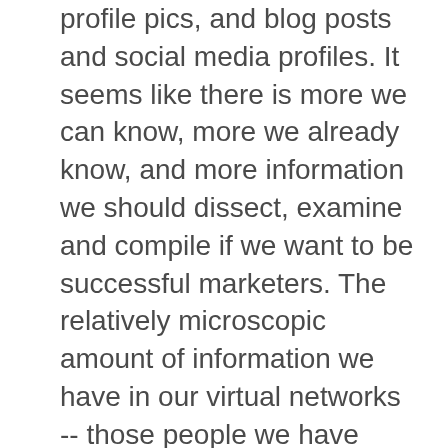profile pics, and blog posts and social media profiles. It seems like there is more we can know, more we already know, and more information we should dissect, examine and compile if we want to be successful marketers. The relatively microscopic amount of information we have in our virtual networks -- those people we have instant access to -- is extensive enough and scattered enough to make us wonder if we possess a data goldmine or if we're trying to hit a moving target in a data wasteland. So how do you market to YOUR crowd, and not THE crowd?   Tie a string from these [...]